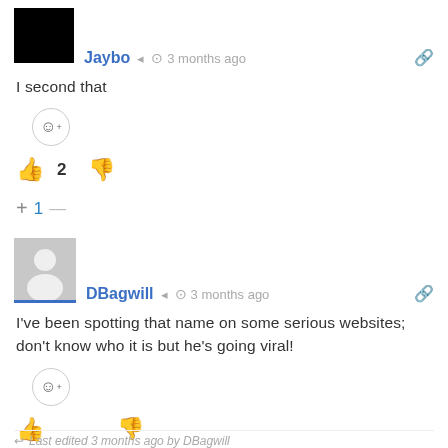Jaybo  3 months ago
I second that
[Figure (other): Emoji reaction button (smiley face with plus)]
👍 2  👎
+ 1 —
DBagwill  3 months ago
I've been spotting that name on some serious websites; don't know who it is but he's going viral!
[Figure (other): Emoji reaction button (smiley face with plus)]
👍  👎
Last edited 3 months ago by DBagwill